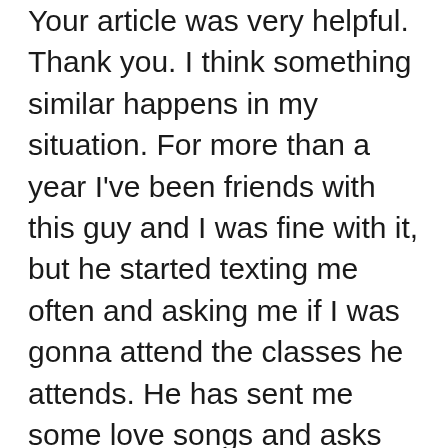Your article was very helpful. Thank you. I think something similar happens in my situation. For more than a year I've been friends with this guy and I was fine with it, but he started texting me often and asking me if I was gonna attend the classes he attends. He has sent me some love songs and asks me to tell him what I think about them… He seemed interested in me and of course I was always super kind with him, but once I response back wanting to have a conversation, he would just treat me with